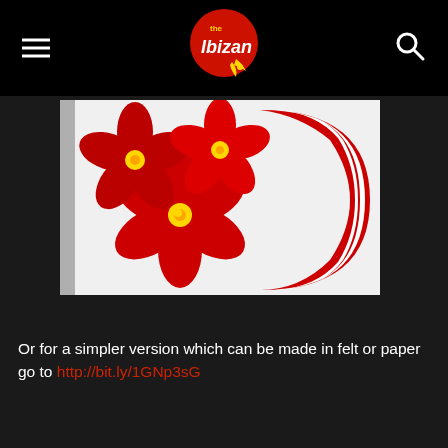The Ibizan
[Figure (photo): A Christmas wreath decorated with red poinsettia felt flowers with yellow centers, wrapped with red and white striped fabric, against a white background.]
Or for a simpler version which can be made in felt or paper go to http://bit.ly/1GNp3sG